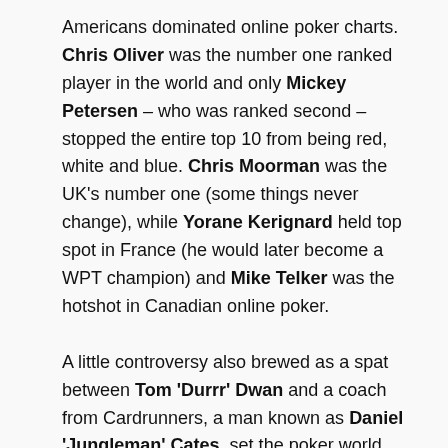Americans dominated online poker charts. Chris Oliver was the number one ranked player in the world and only Mickey Petersen – who was ranked second – stopped the entire top 10 from being red, white and blue. Chris Moorman was the UK's number one (some things never change), while Yorane Kerignard held top spot in France (he would later become a WPT champion) and Mike Telker was the hotshot in Canadian online poker.
A little controversy also brewed as a spat between Tom 'Durrr' Dwan and a coach from Cardrunners, a man known as Daniel 'Jungleman' Cates, set the poker world alight.